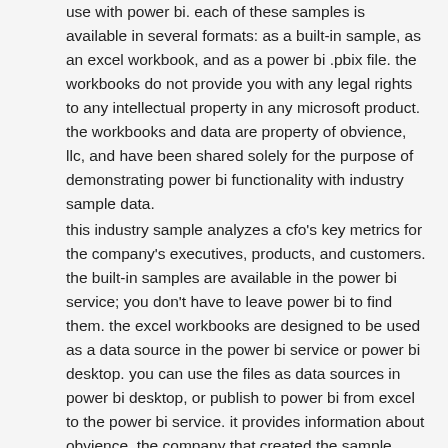use with power bi. each of these samples is available in several formats: as a built-in sample, as an excel workbook, and as a power bi .pbix file. the workbooks do not provide you with any legal rights to any intellectual property in any microsoft product. the workbooks and data are property of obvience, llc, and have been shared solely for the purpose of demonstrating power bi functionality with industry sample data.
this industry sample analyzes a cfo's key metrics for the company's executives, products, and customers. the built-in samples are available in the power bi service; you don't have to leave power bi to find them. the excel workbooks are designed to be used as a data source in the power bi service or power bi desktop. you can use the files as data sources in power bi desktop, or publish to power bi from excel to the power bi service. it provides information about obvience, the company that created the sample, and explains how to see the data in power pivot.